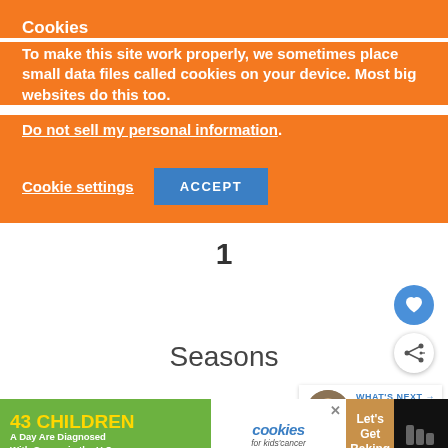Cookies
To make this site work properly, we sometimes place small data files called cookies on your device. Most big websites do this too.
Do not sell my personal information.
Cookie settings  ACCEPT
1
Seasons
WHAT'S NEXT → Here's What Happened to...
[Figure (infographic): Advertisement banner: '43 CHILDREN A Day Are Diagnosed With Cancer in the U.S.' with cookies for kids' cancer logo and 'Let's Get Baking' text]